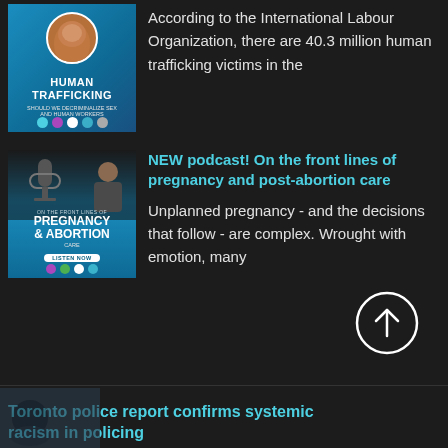[Figure (illustration): Podcast thumbnail for human trafficking episode with blue background, woman avatar, and 'Human Trafficking' text]
According to the International Labour Organization, there are 40.3 million human trafficking victims in the
[Figure (illustration): Podcast thumbnail for 'On the Front Lines of Pregnancy & Abortion Care' with blue background and microphone]
NEW podcast! On the front lines of pregnancy and post-abortion care
Unplanned pregnancy - and the decisions that follow - are complex. Wrought with emotion, many
Toronto police report confirms systemic racism in policing